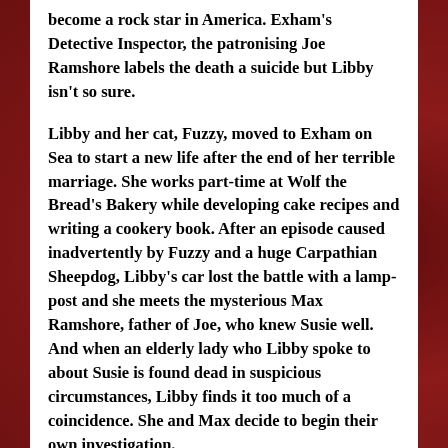become a rock star in America. Exham's Detective Inspector, the patronising Joe Ramshore labels the death a suicide but Libby isn't so sure.
Libby and her cat, Fuzzy, moved to Exham on Sea to start a new life after the end of her terrible marriage. She works part-time at Wolf the Bread's Bakery while developing cake recipes and writing a cookery book. After an episode caused inadvertently by Fuzzy and a huge Carpathian Sheepdog, Libby's car lost the battle with a lamp-post and she meets the mysterious Max Ramshore, father of Joe, who knew Susie well. And when an elderly lady who Libby spoke to about Susie is found dead in suspicious circumstances, Libby finds it too much of a coincidence. She and Max decide to begin their own investigation.